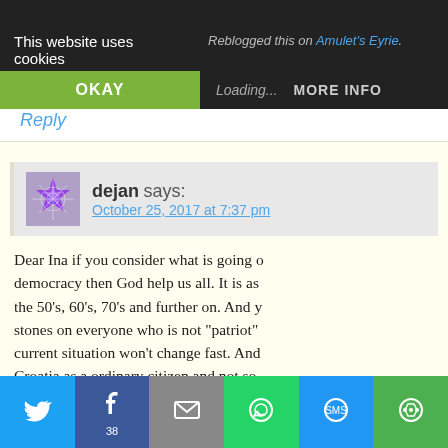This website uses cookies
Reblogged this on Amulet's Eyrie.
OKAY
Loading...  MORE INFO
Reply
dejan says: October 25, 2017 at 7:37 pm
Dear Ina if you consider what is going on democracy then God help us all. It is as the 50's, 60's, 70's and further on. And y stones on everyone who is not "patriot" current situation won't change fast. Ano Croatia as a ordinary citizen and not so America. Only then you could know abo greatness of our nation.
Loading...